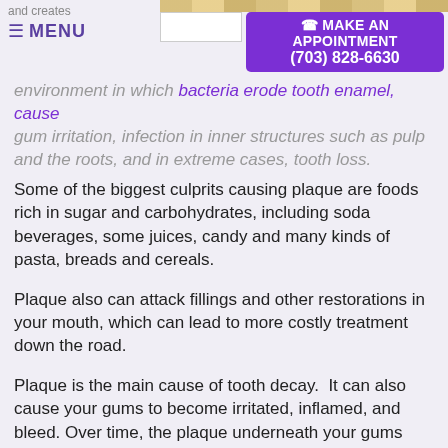and creates  MENU  MAKE AN APPOINTMENT (703) 828-6630
environment in which bacteria erode tooth enamel, cause gum irritation, infection in inner structures such as pulp and the roots, and in extreme cases, tooth loss.
Some of the biggest culprits causing plaque are foods rich in sugar and carbohydrates, including soda beverages, some juices, candy and many kinds of pasta, breads and cereals.
Plaque also can attack fillings and other restorations in your mouth, which can lead to more costly treatment down the road.
Plaque is the main cause of tooth decay.  It can also cause your gums to become irritated, inflamed, and bleed. Over time, the plaque underneath your gums may cause periodontal disease, which can lead to bone loss and eventual tooth loss.
Inside your teeth, decay can gradually destroy the inner layer or dentin.  It can also destroy the pulp, which